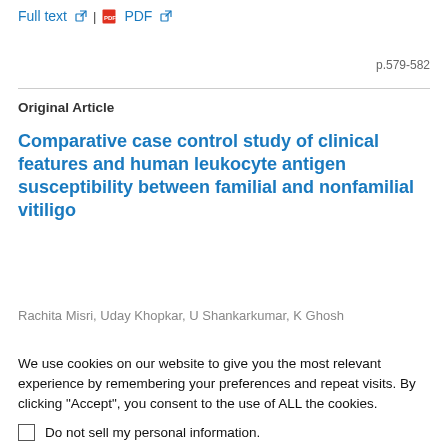Full text | PDF
p.579-582
Original Article
Comparative case control study of clinical features and human leukocyte antigen susceptibility between familial and nonfamilial vitiligo
Rachita Misri, Uday Khopkar, U Shankarkumar, K Ghosh
We use cookies on our website to give you the most relevant experience by remembering your preferences and repeat visits. By clicking "Accept", you consent to the use of ALL the cookies.
Do not sell my personal information.
Cookie Settings  Accept